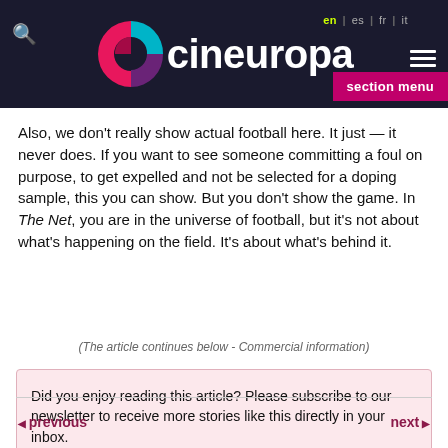cineuropa — en | es | fr | it
Also, we don't really show actual football here. It just — it never does. If you want to see someone committing a foul on purpose, to get expelled and not be selected for a doping sample, this you can show. But you don't show the game. In The Net, you are in the universe of football, but it's not about what's happening on the field. It's about what's behind it.
(The article continues below - Commercial information)
Did you enjoy reading this article? Please subscribe to our newsletter to receive more stories like this directly in your inbox.
e-mail address
◀ previous   next ▶